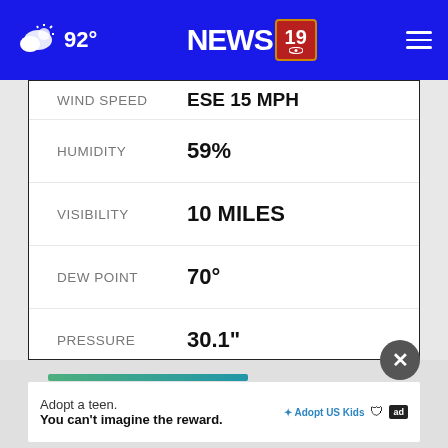92° NEWS 19
WIND SPEED   ESE 15 MPH
HUMIDITY   59%
VISIBILITY   10 MILES
DEW POINT   70°
PRESSURE   30.1"
Adopt a teen. You can't imagine the reward.